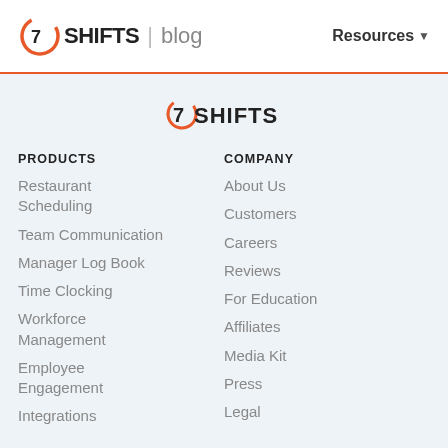7SHIFTS | blog   Resources
[Figure (logo): 7SHIFTS brand logo centered with arc symbol]
PRODUCTS
Restaurant Scheduling
Team Communication
Manager Log Book
Time Clocking
Workforce Management
Employee Engagement
Integrations
COMPANY
About Us
Customers
Careers
Reviews
For Education
Affiliates
Media Kit
Press
Legal